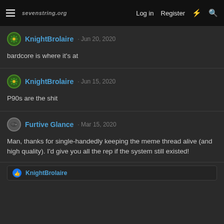sevenstring.org — Log in | Register
KnightBrolaire · Jun 20, 2020
bardcore is where it's at
KnightBrolaire · Jun 15, 2020
P90s are the shit
Furtive Glance · Mar 15, 2020
Man, thanks for single-handedly keeping the meme thread alive (and high quality). I'd give you all the rep if the system still existed!
KnightBrolaire